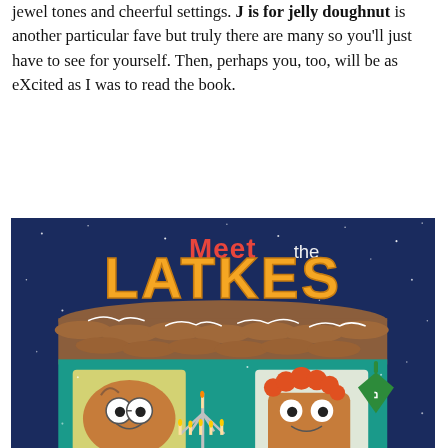jewel tones and cheerful settings. J is for jelly doughnut is another particular fave but truly there are many so you'll just have to see for yourself. Then, perhaps you, too, will be as eXcited as I was to read the book.
[Figure (illustration): Book cover illustration for 'Meet the Latkes' showing cartoon latke characters with eyes and smiles in front of a teal house with a brown roof made of latkes, a menorah in the center, snow-speckled dark blue night sky background, and the title 'Meet the LATKES' in large orange and red letters.]